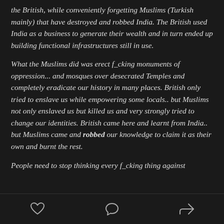the British, while conveniently forgetting Muslims (Turkish mainly) that have destroyed and robbed India. The British used India as a business to generate their wealth and in turn ended up building functional infrastructures still in use.
What the Muslims did was erect f_cking monuments of oppression... and mosques over desecrated Temples and completely eradicate our history in many places. British only tried to enslave us while empowering some locals.. but Muslims not only enslaved us but killed us and very strongly tried to change our identities. British came here and learnt from India.. but Muslims came and robbed our knowledge to claim it as their own and burnt the rest.
People need to stop thinking every f_cking thing against
[heart icon] [comment icon] [share icon]